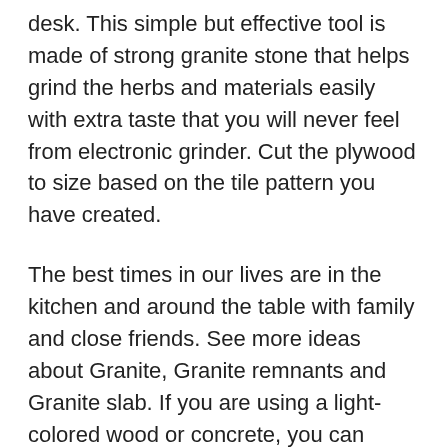desk. This simple but effective tool is made of strong granite stone that helps grind the herbs and materials easily with extra taste that you will never feel from electronic grinder. Cut the plywood to size based on the tile pattern you have created.
The best times in our lives are in the kitchen and around the table with family and close friends. See more ideas about Granite, Granite remnants and Granite slab. If you are using a light-colored wood or concrete, you can make swirls of color that will look amazing.
Make sure you construct your table/bench surface so that the tile will fit without having to use or cut it with a tile saw.. How can I attach a marble top to an iron table base? How to make a 100 dollar